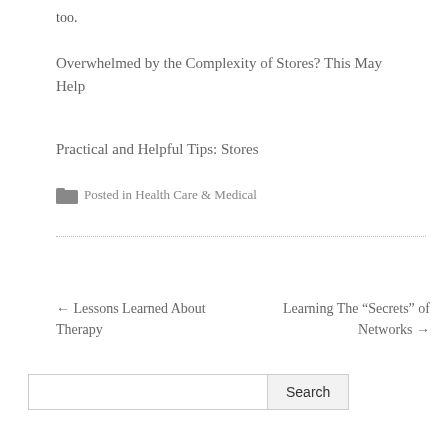too.
Overwhelmed by the Complexity of Stores? This May Help
Practical and Helpful Tips: Stores
Posted in Health Care & Medical
← Lessons Learned About Therapy
Learning The “Secrets” of Networks →